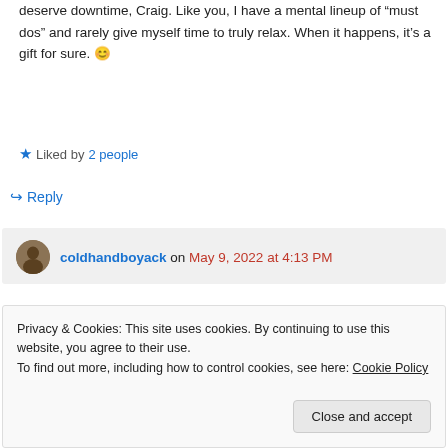deserve downtime, Craig. Like you, I have a mental lineup of “must dos” and rarely give myself time to truly relax. When it happens, it’s a gift for sure. 😊
★ Liked by 2 people
↪ Reply
coldhandboyack on May 9, 2022 at 4:13 PM
Privacy & Cookies: This site uses cookies. By continuing to use this website, you agree to their use.
To find out more, including how to control cookies, see here: Cookie Policy